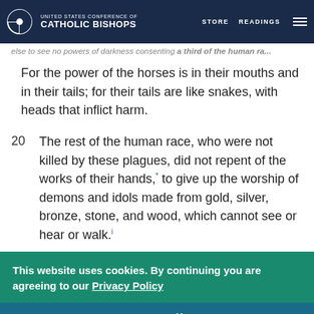United States Conference of Catholic Bishops — STORE READINGS
else to see no powers of darkness consenting a third of the human race
For the power of the horses is in their mouths and in their tails; for their tails are like snakes, with heads that inflict harm.
20 The rest of the human race, who were not killed by these plagues, did not repent of the works of their hands,* to give up the worship of demons and idols made from gold, silver, bronze, stone, and wood, which cannot see or hear or walk.i
This website uses cookies. By continuing you are agreeing to our Privacy Policy
CLOSE X